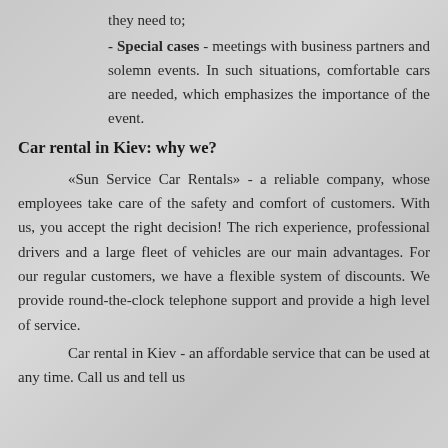they need to;
- Special cases - meetings with business partners and solemn events. In such situations, comfortable cars are needed, which emphasizes the importance of the event.
Car rental in Kiev: why we?
«Sun Service Car Rentals» - a reliable company, whose employees take care of the safety and comfort of customers. With us, you accept the right decision! The rich experience, professional drivers and a large fleet of vehicles are our main advantages. For our regular customers, we have a flexible system of discounts. We provide round-the-clock telephone support and provide a high level of service.
Car rental in Kiev - an affordable service that can be used at any time. Call us and tell us